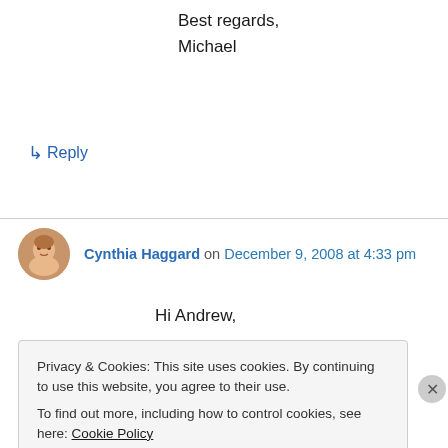Best regards,
Michael
↳ Reply
Cynthia Haggard on December 9, 2008 at 4:33 pm
Hi Andrew,
Privacy & Cookies: This site uses cookies. By continuing to use this website, you agree to their use.
To find out more, including how to control cookies, see here: Cookie Policy
Close and accept